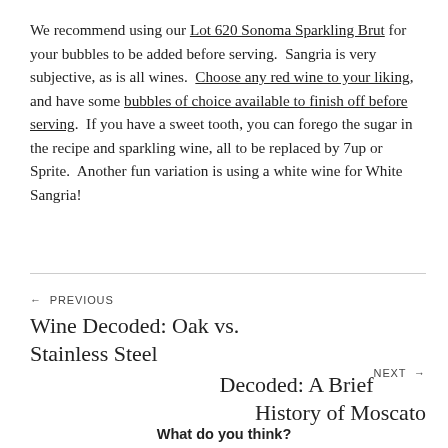We recommend using our Lot 620 Sonoma Sparkling Brut for your bubbles to be added before serving.  Sangria is very subjective, as is all wines.  Choose any red wine to your liking, and have some bubbles of choice available to finish off before serving.  If you have a sweet tooth, you can forego the sugar in the recipe and sparkling wine, all to be replaced by 7up or Sprite.  Another fun variation is using a white wine for White Sangria!
← PREVIOUS
Wine Decoded: Oak vs. Stainless Steel
NEXT →
Decoded: A Brief History of Moscato
What do you think?